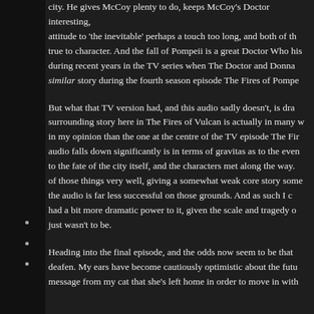city. He gives McCoy plenty to do, keeps McCoy's Doctor interesting, attitude to 'the inevitable' perhaps a touch too long, and both of the true to character. And the fall of Pompeii is a great Doctor Who history during recent years in the TV series when The Doctor and Donna similar story during the fourth season episode The Fires of Pompe
But what that TV version had, and this audio sadly doesn't, is dra surrounding story here in The Fires of Vulcan is actually in many w in my opinion than the one at the centre of the TV episode The Fir audio falls down significantly is in terms of gravitas as to the even to the fate of the city itself, and the characters met along the way. of those things very well, giving a somewhat weak core story some the audio is far less successful on those grounds. And as such I c had a bit more dramatic power to it, given the scale and tragedy o just wasn't to be.
Heading into the final episode, and the odds now seem to be that deafen. My ears have become cautiously optimistic about the futu message from my cat that she's left home in order to move in with